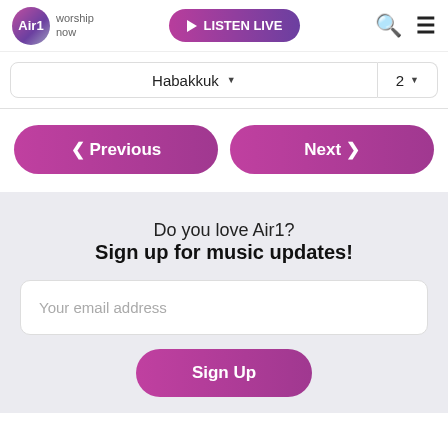Air1 worship now | LISTEN LIVE
Habakkuk ▾   2 ▾
< Previous   Next >
Do you love Air1?
Sign up for music updates!
Your email address
Sign Up